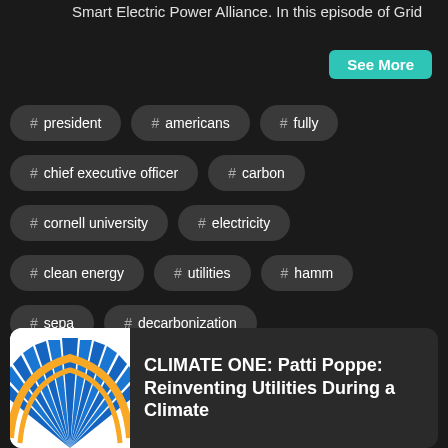Smart Electric Power Alliance. In this episode of Grid
See More
# president
# americans
# fully
# chief executive officer
# carbon
# cornell university
# electricity
# clean energy
# utilities
# hamm
# sepa
# decarbonization
# grid talk
[Figure (logo): Climate One podcast logo — blue and yellow sunburst wheel on white background]
CLIMATE ONE: Patti Poppe: Reinventing Utilities During a Climate